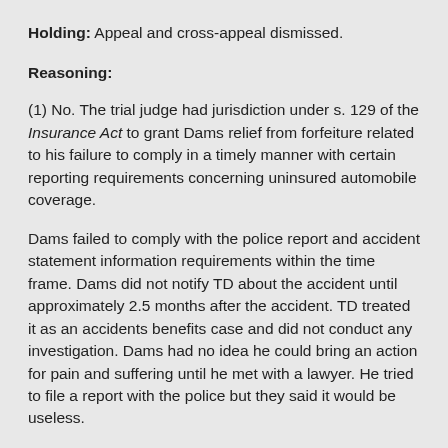Holding: Appeal and cross-appeal dismissed.
Reasoning:
(1) No. The trial judge had jurisdiction under s. 129 of the Insurance Act to grant Dams relief from forfeiture related to his failure to comply in a timely manner with certain reporting requirements concerning uninsured automobile coverage.
Dams failed to comply with the police report and accident statement information requirements within the time frame. Dams did not notify TD about the accident until approximately 2.5 months after the accident. TD treated it as an accidents benefits case and did not conduct any investigation. Dams had no idea he could bring an action for pain and suffering until he met with a lawyer. He tried to file a report with the police but they said it would be useless.